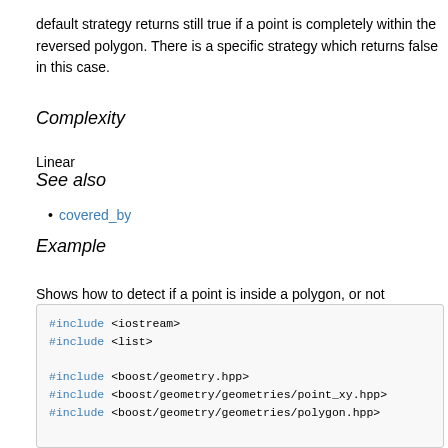default strategy returns still true if a point is completely within the reversed polygon. There is a specific strategy which returns false in this case.
Complexity
Linear
See also
covered_by
Example
Shows how to detect if a point is inside a polygon, or not
[Figure (screenshot): C++ code block showing #include directives for iostream, list, boost/geometry.hpp, boost/geometry/geometries/point_xy.hpp, boost/geometry/geometries/polygon.hpp, and the beginning of int main() with typedef declarations for boost::geometry::model::d2::point_xy and boost::geometry::model::polygon]